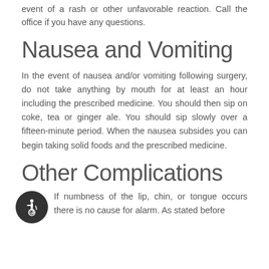event of a rash or other unfavorable reaction. Call the office if you have any questions.
Nausea and Vomiting
In the event of nausea and/or vomiting following surgery, do not take anything by mouth for at least an hour including the prescribed medicine. You should then sip on coke, tea or ginger ale. You should sip slowly over a fifteen-minute period. When the nausea subsides you can begin taking solid foods and the prescribed medicine.
Other Complications
[Figure (logo): Accessibility icon — white wheelchair symbol on dark circular background]
If numbness of the lip, chin, or tongue occurs there is no cause for alarm. As stated before